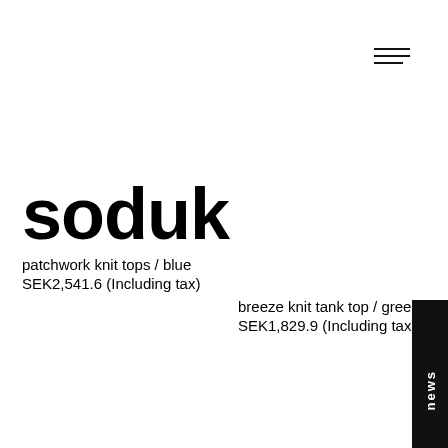[Figure (other): Hamburger menu icon (three horizontal lines) in top right corner]
soduk
patchwork knit tops / blue
SEK2,541.6 (Including tax)
breeze knit tank top / green
SEK1,829.9 (Including tax)
[Figure (other): Black vertical tab on right side with 'news' text rotated vertically]